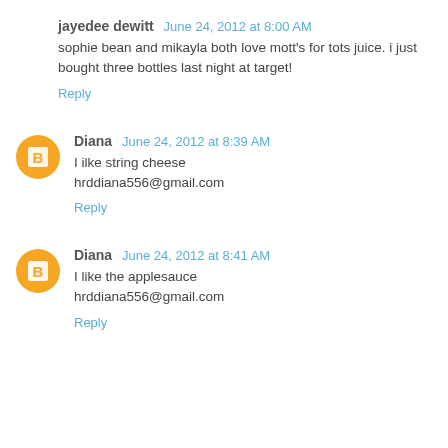jayedee dewitt  June 24, 2012 at 8:00 AM
sophie bean and mikayla both love mott's for tots juice. i just bought three bottles last night at target!
Reply
Diana  June 24, 2012 at 8:39 AM
I ilke string cheese
hrddiana556@gmail.com
Reply
Diana  June 24, 2012 at 8:41 AM
I like the applesauce
hrddiana556@gmail.com
Reply